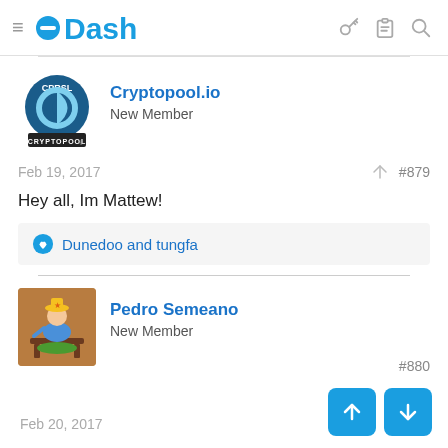Dash
[Figure (logo): Cryptopool.io avatar with circular logo and CRYPTOPOOL text]
Cryptopool.io
New Member
Feb 19, 2017  #879
Hey all, Im Mattew!
Dunedoo and tungfa
[Figure (photo): Pedro Semeano avatar photo showing a small figurine]
Pedro Semeano
New Member
Feb 20, 2017  #880